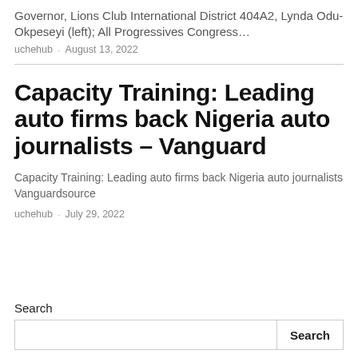Governor, Lions Club International District 404A2, Lynda Odu-Okpeseyi (left); All Progressives Congress…
uchehub · August 13, 2022
Capacity Training: Leading auto firms back Nigeria auto journalists – Vanguard
Capacity Training: Leading auto firms back Nigeria auto journalists  Vanguardsource
uchehub · July 29, 2022
Search